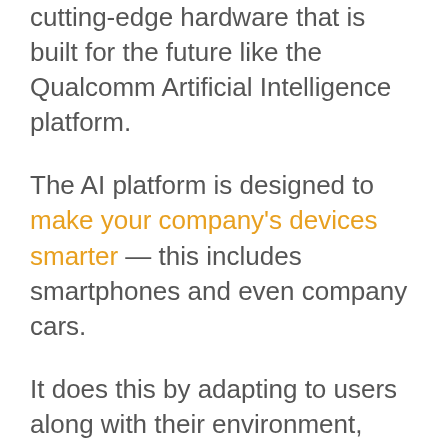cutting-edge hardware that is built for the future like the Qualcomm Artificial Intelligence platform.
The AI platform is designed to make your company's devices smarter — this includes smartphones and even company cars.
It does this by adapting to users along with their environment, which in turn will help make the AI-powered devices even more productive. Also, by saving on battery life, artificial intelligence can help a company's tech remain sustainable over time.